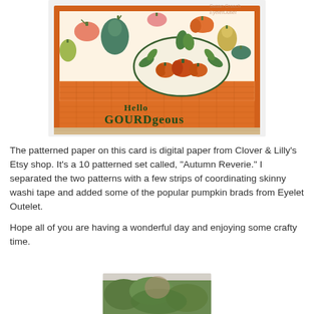[Figure (photo): A handmade greeting card with an orange border, featuring patterned paper with colorful gourds and pumpkins, a plaid strip with washi tape, an oval embellishment with pumpkin brads and leafy botanical design, and text reading 'Hello GOURDgeous'. The card is displayed on a wooden surface.]
The patterned paper on this card is digital paper from Clover & Lilly's Etsy shop.  It's a 10 patterned set called, "Autumn Reverie." I separated the two patterns with a few strips of coordinating skinny washi tape and added some of the popular pumpkin brads from Eyelet Outelet.
Hope all of you are having a wonderful day and enjoying some crafty time.
[Figure (photo): Partial view of a second image, showing the top portion of what appears to be a person or scene with green foliage background, cropped at the bottom of the page.]